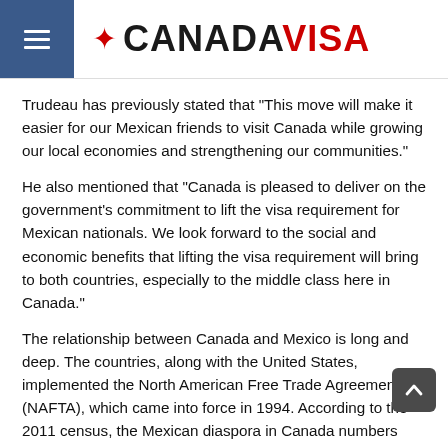CANADA VISA
Trudeau has previously stated that “This move will make it easier for our Mexican friends to visit Canada while growing our local economies and strengthening our communities.”
He also mentioned that “Canada is pleased to deliver on the government's commitment to lift the visa requirement for Mexican nationals. We look forward to the social and economic benefits that lifting the visa requirement will bring to both countries, especially to the middle class here in Canada.”
The relationship between Canada and Mexico is long and deep. The countries, along with the United States, implemented the North American Free Trade Agreement (NAFTA), which came into force in 1994. According to the 2011 census, the Mexican diaspora in Canada numbers 317,000.
Data from Statistics Canada for the first seven months of 2016 showed a 17 per cent increase in travel from Mexico to Canada year-over-year. It also noted that this September, Aeromexico, the